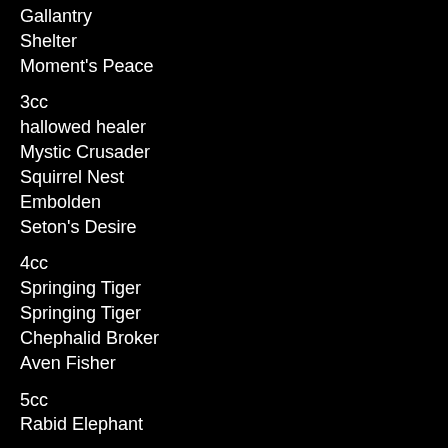Gallantry
Shelter
Moment's Peace
3cc
hallowed healer
Mystic Crusader
Squirrel Nest
Embolden
Seton's Desire
4cc
Springing Tiger
Springing Tiger
Chephalid Broker
Aven Fisher
5cc
Rabid Elephant
6cc+
Second Thoughts
Kirtar's Wrath
Syncopate
6 Plains
7 Forest
1 Abandoned Outpost
3 Island